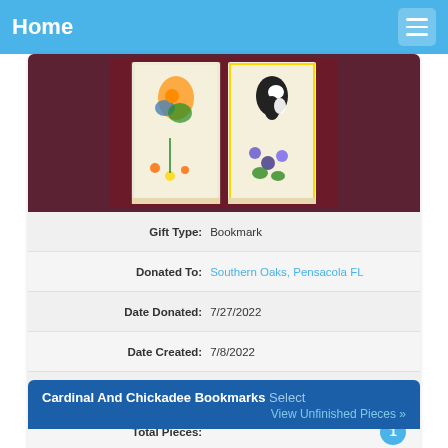Home
[Figure (photo): Two cross-stitch bookmarks showing birds with floral designs, displayed against a dark red background.]
| Gift Type: | Bookmark |
| Donated To: | Southern Oaks, Pensacola FL |
| Date Donated: | 7/27/2022 |
| Date Created: | 7/8/2022 |
| Finished By: | Peggy; Stitched by Pat P. |
| Total Pieces: | 1 |
Cardinal And Chickadee Bookmarks Select
View Unfinished Pieces »